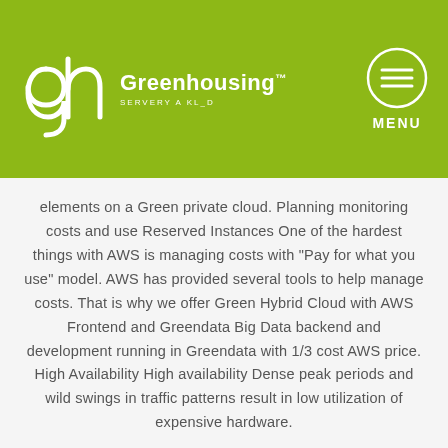[Figure (logo): Greenhousing logo with stylized 'gh' letters in white on olive-green background, with brand name 'Greenhousing™' and subtitle 'SERVERY A KL_D']
elements on a Green private cloud. Planning monitoring costs and use Reserved Instances One of the hardest things with AWS is managing costs with "Pay for what you use" model. AWS has provided several tools to help manage costs. That is why we offer Green Hybrid Cloud with AWS Frontend and Greendata Big Data backend and development running in Greendata with 1/3 cost AWS price. High Availability High availability Dense peak periods and wild swings in traffic patterns result in low utilization of expensive hardware.
Poptat službu